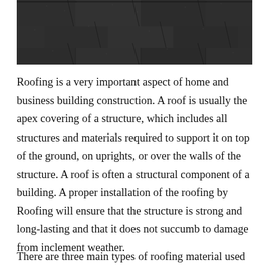[Figure (photo): Close-up photograph of dark gray roofing shingles arranged in overlapping rows, showing textured asphalt shingle surface.]
Roofing is a very important aspect of home and business building construction. A roof is usually the apex covering of a structure, which includes all structures and materials required to support it on top of the ground, on uprights, or over the walls of the structure. A roof is often a structural component of a building. A proper installation of the roofing by Roofing will ensure that the structure is strong and long-lasting and that it does not succumb to damage from inclement weather.
There are three main types of roofing material used for